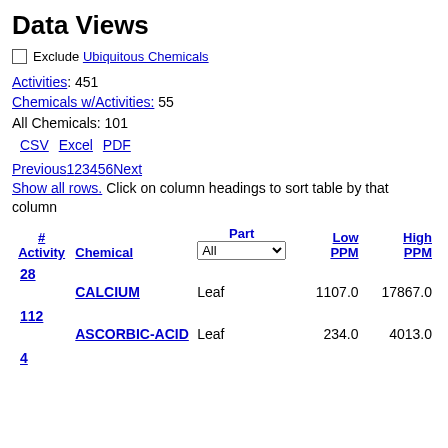Data Views
Exclude Ubiquitous Chemicals
Activities: 451
Chemicals w/Activities: 55
All Chemicals: 101
CSV  Excel  PDF
Previous1 2 3 4 5 6 Next
Show all rows. Click on column headings to sort table by that column
| # Activity | Chemical | Part | Low PPM | High PPM |
| --- | --- | --- | --- | --- |
| 28 |  |  |  |  |
|  | CALCIUM | Leaf | 1107.0 | 17867.0 |
| 112 |  |  |  |  |
|  | ASCORBIC-ACID | Leaf | 234.0 | 4013.0 |
| 4 |  |  |  |  |